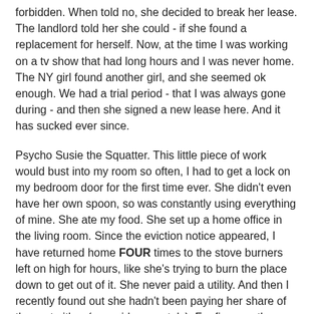forbidden. When told no, she decided to break her lease. The landlord told her she could - if she found a replacement for herself. Now, at the time I was working on a tv show that had long hours and I was never home. The NY girl found another girl, and she seemed ok enough. We had a trial period - that I was always gone during - and then she signed a new lease here. And it has sucked ever since.
Psycho Susie the Squatter. This little piece of work would bust into my room so often, I had to get a lock on my bedroom door for the first time ever. She didn't even have her own spoon, so was constantly using everything of mine. She ate my food. She set up a home office in the living room. Since the eviction notice appeared, I have returned home FOUR times to the stove burners left on high for hours, like she's trying to burn the place down to get out of it. She never paid a utility. And then I recently found out she hadn't been paying her share of the rent either (we paid separately). For five months. Now SIX. I only found out because I came home to an eviction notice on the front door. As I HAVE paid my rent every month, I figured great, let's get this girl out of here and I can get someone new in here that actually is a